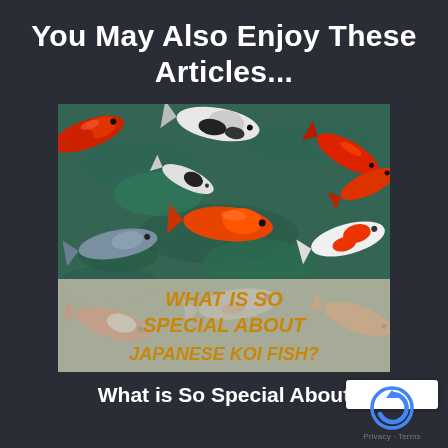You May Also Enjoy These Articles...
[Figure (photo): Overhead view of colorful Japanese koi fish swimming in a pond — red, white, black, and blue-grey koi visible from above with dark green water. Overlay banner text reads: WHAT IS SO SPECIAL ABOUT JAPANESE KOI FISH?]
What is So Special About